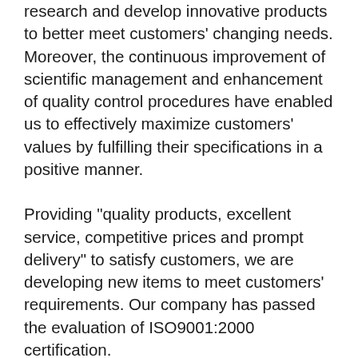research and develop innovative products to better meet customers' changing needs. Moreover, the continuous improvement of scientific management and enhancement of quality control procedures have enabled us to effectively maximize customers' values by fulfilling their specifications in a positive manner.
Providing "quality products, excellent service, competitive prices and prompt delivery" to satisfy customers, we are developing new items to meet customers' requirements. Our company has passed the evaluation of ISO9001:2000 certification.
The tenet of our company is to "creative value & self-perfecting". "Serving customers" is our mission. We set up the value attitude of "serve & concept" during working process. Your support will be the best reward to our work and your satisfaction will be our unremitting pursue. We are now looking